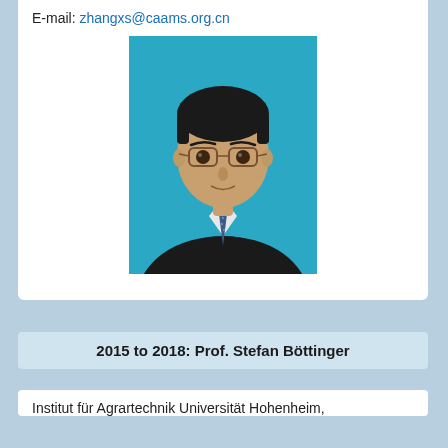E-mail: zhangxs@caams.org.cn
[Figure (photo): Headshot of a middle-aged Asian man wearing glasses, a dark suit, and a blue patterned tie, photographed against a bright teal/cyan background.]
2015 to 2018: Prof. Stefan Böttinger
Institut für Agrartechnik Universität Hohenheim,